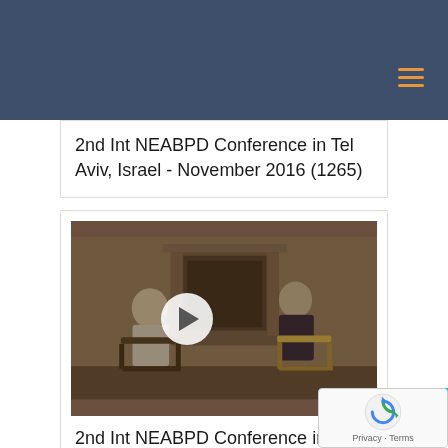2nd Int NEABPD Conference in Tel Aviv, Israel - November 2016 (1265)
[Figure (photo): Video thumbnail showing two people seated across from each other in chairs in front of a fireplace, with a play button overlay in the center]
2nd Int NEABPD Conference in Tel Aviv, Israel - November 2016 (1265)